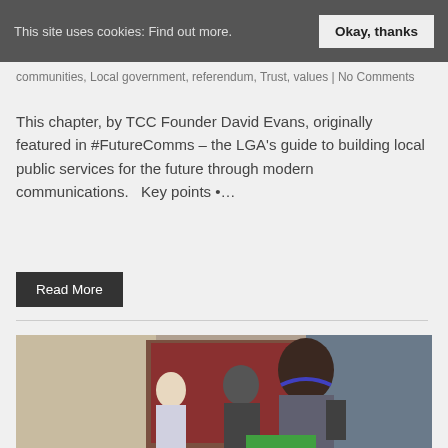This site uses cookies: Find out more.   Okay, thanks
communities, Local government, referendum, Trust, values | No Comments
This chapter, by TCC Founder David Evans, originally featured in #FutureComms – the LGA's guide to building local public services for the future through modern communications.   Key points •…
Read More
[Figure (photo): Photo of a young man with headphones around his neck outdoors near a building entrance, with other people in the background]